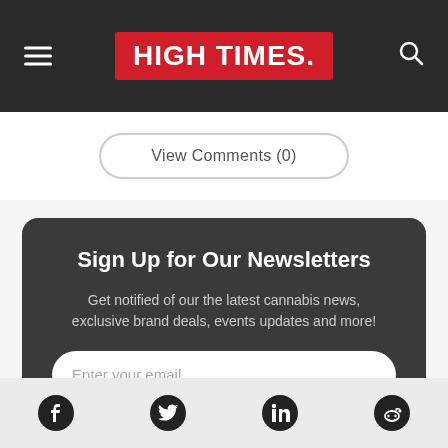HIGH TIMES
View Comments (0)
Sign Up for Our Newsletters
Get notified of our the latest cannabis news, exclusive brand deals, events updates and more!
Enter your email
Subscribe
[Figure (other): Social media icons: Facebook, Twitter, LinkedIn, Reddit]